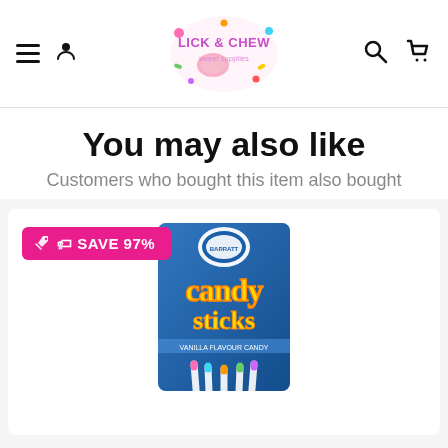Lick & Chew sweet supplies — navigation header with hamburger menu, user icon, logo, search icon, cart icon
You may also like
Customers who bought this item also bought
[Figure (photo): Product card showing a blue box of Candy Sticks with white candy sticks fanned out at the bottom. A pink 'SAVE 97%' badge with a tag icon is overlaid in the top-left of the card.]